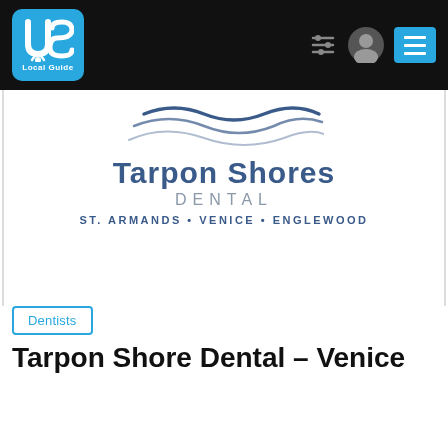[Figure (logo): US Local Guide logo in blue rounded square, top left of black navigation bar]
[Figure (logo): Tarpon Shores Dental logo with wave graphic, blue text, and location tagline: ST. ARMANDS • VENICE • ENGLEWOOD]
Dentists
Tarpon Shore Dental – Venice